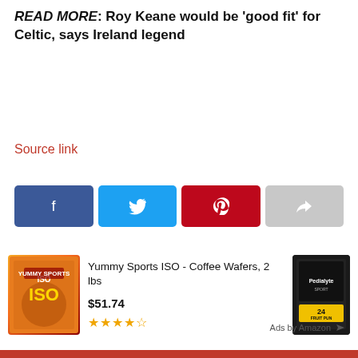READ MORE: Roy Keane would be 'good fit' for Celtic, says Ireland legend
Source link
[Figure (infographic): Social media share buttons: Facebook (dark blue), Twitter (light blue), Pinterest (red), Forward/share (grey)]
[Figure (infographic): Amazon ad banner: Yummy Sports ISO - Coffee Wafers, 2 lbs, $51.74, 4 star rating, product image left, Pedialyte product image right, Ads by Amazon label]
Ads by Amazon